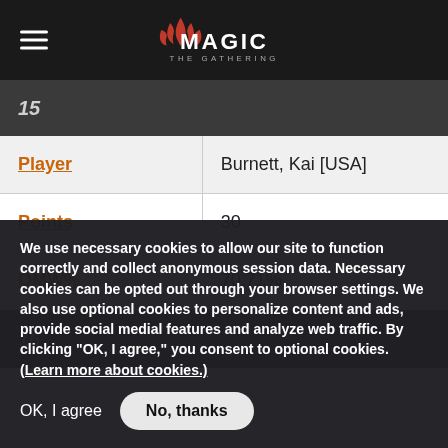Magic: The Gathering
| Field | Value |
| --- | --- |
| 15 |  |
| Player | Burnett, Kai [USA] |
| Points | 30 |
| OMW% | 70.71% |
| 16 |  |
We use necessary cookies to allow our site to function correctly and collect anonymous session data. Necessary cookies can be opted out through your browser settings. We also use optional cookies to personalize content and ads, provide social medial features and analyze web traffic. By clicking “OK, I agree,” you consent to optional cookies. (Learn more about cookies.)
OK, I agree    No, thanks